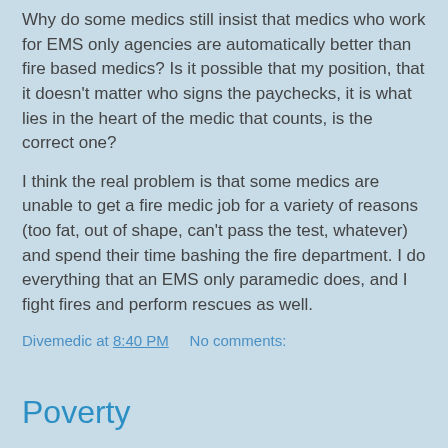Why do some medics still insist that medics who work for EMS only agencies are automatically better than fire based medics? Is it possible that my position, that it doesn't matter who signs the paychecks, it is what lies in the heart of the medic that counts, is the correct one?
I think the real problem is that some medics are unable to get a fire medic job for a variety of reasons (too fat, out of shape, can't pass the test, whatever) and spend their time bashing the fire department. I do everything that an EMS only paramedic does, and I fight fires and perform rescues as well.
Divemedic at 8:40 PM    No comments:
Poverty
The poverty threshold is an amount of money that is required to meet a certain minimum standard of living. That is, it is computed by determining what amount of money it takes to live in an apartment and eat at a certain minimum level. The